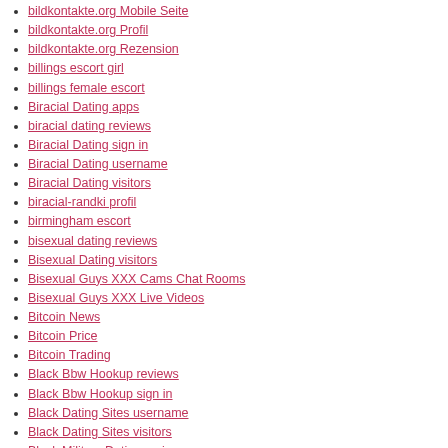bildkontakte.org Mobile Seite
bildkontakte.org Profil
bildkontakte.org Rezension
billings escort girl
billings female escort
Biracial Dating apps
biracial dating reviews
Biracial Dating sign in
Biracial Dating username
Biracial Dating visitors
biracial-randki profil
birmingham escort
bisexual dating reviews
Bisexual Dating visitors
Bisexual Guys XXX Cams Chat Rooms
Bisexual Guys XXX Live Videos
Bitcoin News
Bitcoin Price
Bitcoin Trading
Black Bbw Hookup reviews
Black Bbw Hookup sign in
Black Dating Sites username
Black Dating Sites visitors
Black Military Dating review
Black Singles review